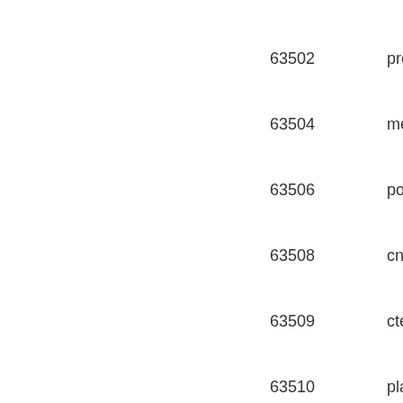| ID | Name |
| --- | --- |
| 63502 | prot… |
| 63504 | mes… |
| 63506 | pori… |
| 63508 | cnio… |
| 63509 | cten… |
| 63510 | plat… |
| 63512 | rhyn… |